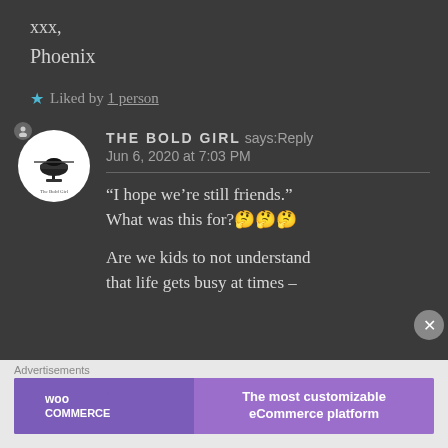xxx,
Phoenix
★ Liked by 1 person
THE BOLD GIRL says: Reply
Jun 6, 2020 at 7:03 PM
“I hope we’re still friends.” What was this for?🤔🤔🤔
Are we kids to not understand that life gets busy at times –
Advertisements
[Figure (logo): WooCommerce advertisement banner: 'The most customizable eCommerce platform']